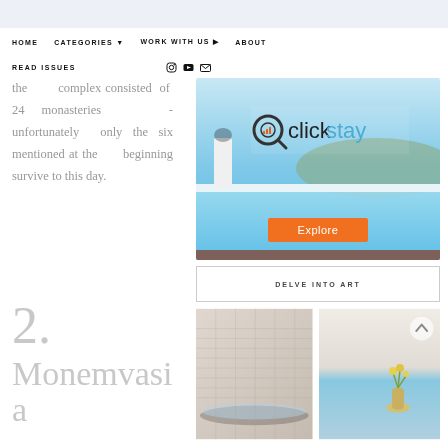HOME  CATEGORIES  WORK WITH US  ABOUT
READ ISSUES
the complex consisted of 24 monasteries - unfortunately only the six mentioned at the beginning survive to this day.
[Figure (photo): Clickstay advertisement banner showing a woman in white dress standing by an infinity pool overlooking the sea, with the Clickstay logo and an orange Explore button]
2. Monemvasia
DELVE INTO ART
[Figure (photo): Two side-by-side photos: left showing a close-up of a decorative woven/textured surface with a glass table, right showing a minimalist white terrace with a small vase and sea view in the background, with an up-arrow navigation button]